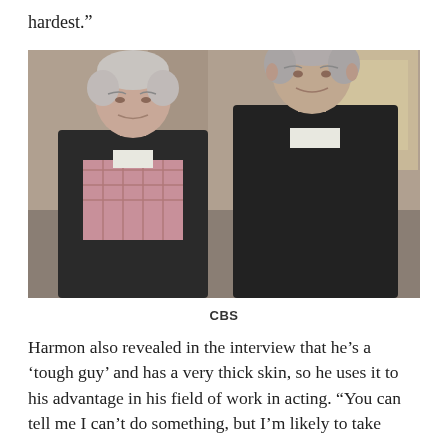hardest.”
[Figure (photo): Two older men standing side by side indoors. The man on the left has white/grey hair and wears a pink plaid shirt under a dark jacket. The man on the right has grey hair and wears a dark jacket over a white shirt. Both have serious expressions.]
CBS
Harmon also revealed in the interview that he’s a ‘tough guy’ and has a very thick skin, so he uses it to his advantage in his field of work in acting. “You can tell me I can’t do something, but I’m likely to take